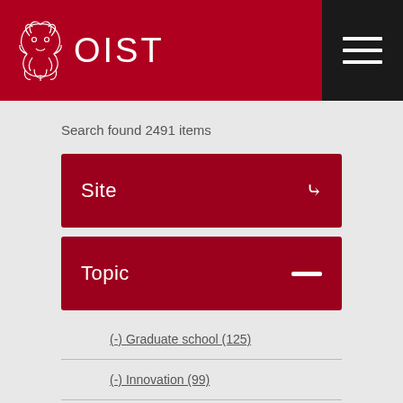[Figure (logo): OIST logo with dragon emblem and 'OIST' text on red header background]
Search found 2491 items
Site
Topic
(-) Graduate school (125)
(-) Innovation (99)
(-) News articles (1766)